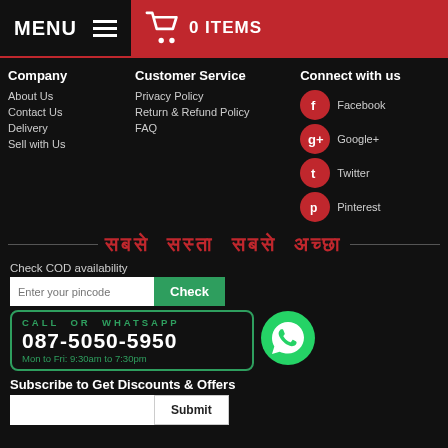MENU  0 ITEMS
Company
About Us
Contact Us
Delivery
Sell with Us
Customer Service
Privacy Policy
Return & Refund Policy
FAQ
Connect with us
Facebook
Google+
Twitter
Pinterest
सबसे  सस्ता  सबसे  अच्छा
Check COD availability
Enter your pincode  Check
CALL OR WHATSAPP  087-5050-5950  Mon to Fri: 9:30am to 7:30pm
Subscribe to Get Discounts & Offers
Submit